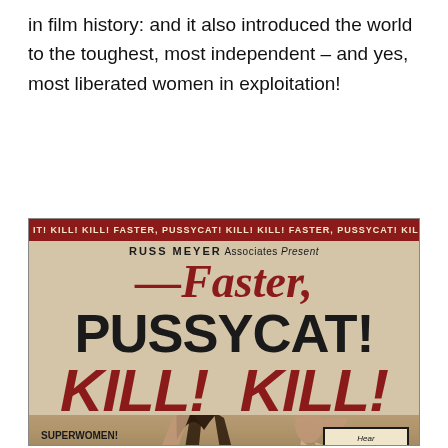in film history: and it also introduced the world to the toughest, most independent – and yes, most liberated women in exploitation!
[Figure (photo): Vintage movie poster for 'Faster, Pussycat! Kill! Kill!' by Russ Meyer Associates. Features large bold title text, two women figures fighting, classic cars, and promotional text including 'SUPERWOMEN! BELTED, BUCKLED and BOOTED!' and a 'Hear FASTER PUSSYCAT! song by the BOSTWEEDS!' box. Running marquee text at top reads 'KILL! KILL! FASTER, PUSSYCAT! KILL! KILL! FASTER, PUSSYCAT!']